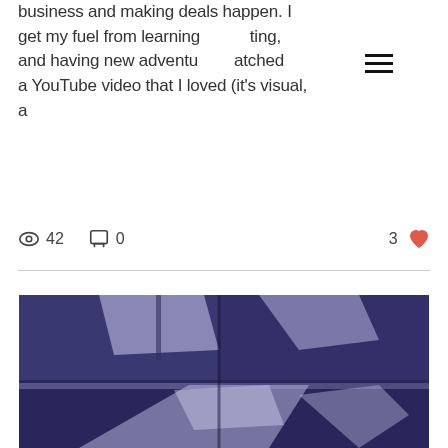business and making deals happen. I get my fuel from learning, ting, and having new adventu... atched a YouTube video that I loved (it's visual, a
[Figure (infographic): Hamburger menu icon (three horizontal lines)]
42 views  0 comments  3 likes
[Figure (photo): Interior room photograph showing window light and shadows cast on walls and floor in blue/purple tones]